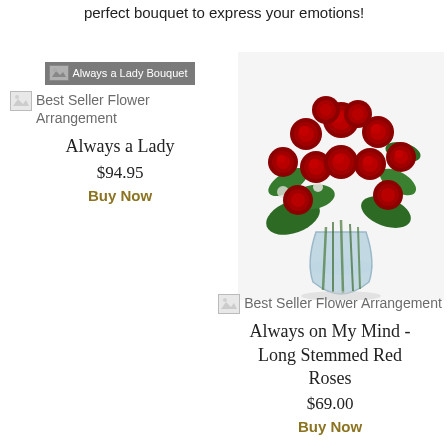perfect bouquet to express your emotions!
[Figure (illustration): Broken image placeholder labeled 'Always a Lady Bouquet' with grey banner]
Best Seller Flower Arrangement
Always a Lady
$94.95
Buy Now
[Figure (photo): Photo of a bouquet of red roses in a clear glass vase with green foliage]
[Figure (illustration): Broken image placeholder for Best Seller Flower Arrangement]
Best Seller Flower Arrangement
Always on My Mind - Long Stemmed Red Roses
$69.00
Buy Now